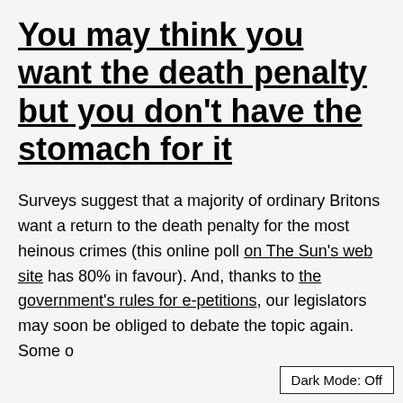You may think you want the death penalty but you don't have the stomach for it
Surveys suggest that a majority of ordinary Britons want a return to the death penalty for the most heinous crimes (this online poll on The Sun's web site has 80% in favour). And, thanks to the government's rules for e-petitions, our legislators may soon be obliged to debate the topic again. Some o
Dark Mode: Off